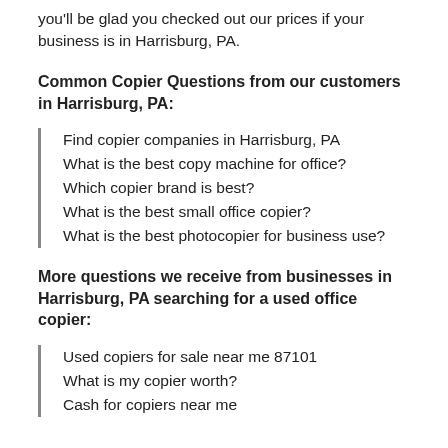you'll be glad you checked out our prices if your business is in Harrisburg, PA.
Common Copier Questions from our customers in Harrisburg, PA:
Find copier companies in Harrisburg, PA
What is the best copy machine for office?
Which copier brand is best?
What is the best small office copier?
What is the best photocopier for business use?
More questions we receive from businesses in Harrisburg, PA searching for a used office copier:
Used copiers for sale near me 87101
What is my copier worth?
Cash for copiers near me